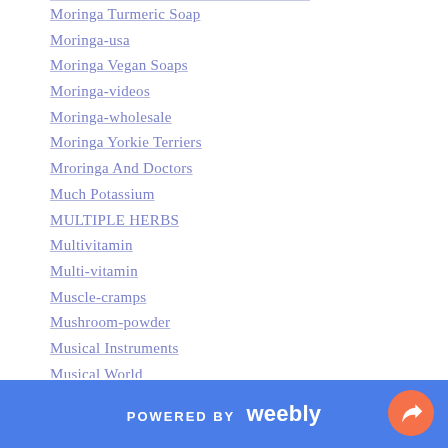Moringa Turmeric Soap
Moringa-usa
Moringa Vegan Soaps
Moringa-videos
Moringa-wholesale
Moringa Yorkie Terriers
Mroringa And Doctors
Much Potassium
MULTIPLE HERBS
Multivitamin
Multi-vitamin
Muscle-cramps
Mushroom-powder
Musical Instruments
Musical World
Nail-color
Nails
POWERED BY weebly